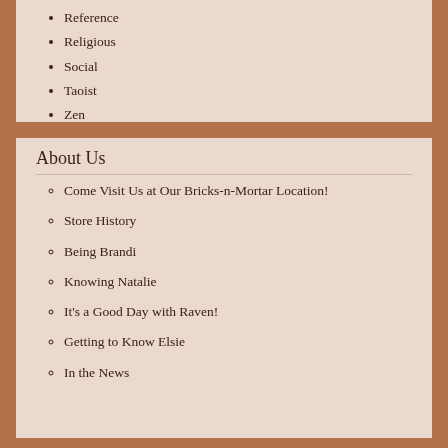Reference
Religious
Social
Taoist
Zen
About Us
Come Visit Us at Our Bricks-n-Mortar Location!
Store History
Being Brandi
Knowing Natalie
It's a Good Day with Raven!
Getting to Know Elsie
In the News